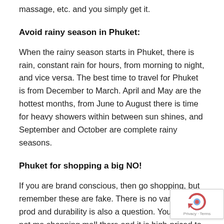massage, etc. and you simply get it.
Avoid rainy season in Phuket:
When the rainy season starts in Phuket, there is rain, constant rain for hours, from morning to night, and vice versa. The best time to travel for Phuket is from December to March. April and May are the hottest months, from June to August there is time for heavy showers within between sun shines, and September and October are complete rainy seasons.
Phuket for shopping a big NO!
If you are brand conscious, then go shopping, but remember these are fake. There is no variety of prod... and durability is also a question. You will find not ma... shopping mall there and it is high-priced to provide...